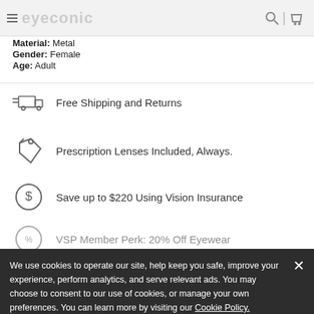Eyeconic
Material: Metal
Gender: Female
Age: Adult
Free Shipping and Returns
Prescription Lenses Included, Always.
Save up to $220 Using Vision Insurance
VSP Member Perk: 20% Off Eyewear
We use cookies to operate our site, help keep you safe, improve your experience, perform analytics, and serve relevant ads. You may choose to consent to our use of cookies, or manage your own preferences. You can learn more by visiting our Cookie Policy.
Lens Packages
Silver | Gold | Platinum